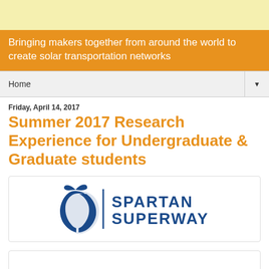Bringing makers together from around the world to create solar transportation networks
Home
Friday, April 14, 2017
Summer 2017 Research Experience for Undergraduate & Graduate students
[Figure (logo): Spartan Superway logo: stylized Spartan helmet in dark blue on left, vertical divider, text SPARTAN SUPERWAY in dark blue bold capitals on right]
[Figure (photo): Partially visible image box at bottom of page]